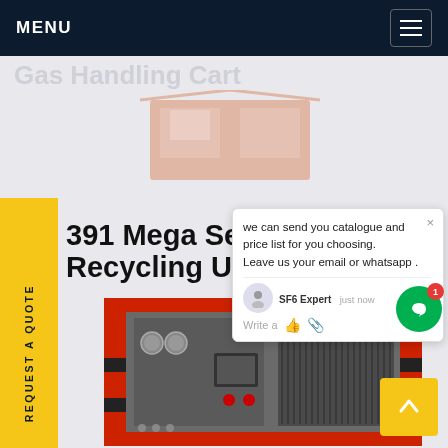MENU
391 Mega Series SF6 Recycling Unit
[Figure (photo): SF6 gas recycling unit equipment with red frame structure, grey control panel with gauges and display screen, photographed on a website product page]
we can send you catalogue and price list for you choosing. Leave us your email or whatsapp .
SF6 Expert   just now
Write a
REQUEST A QUOTE